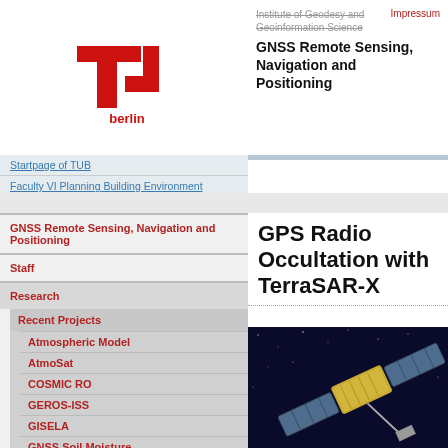[Figure (logo): TU Berlin red logo mark with 'berlin' text]
Institute of Geodesy and Geoinformation Science
Impressum
GNSS Remote Sensing, Navigation and Positioning
Startpage of TUB
Faculty VI Planning Building Environment
Institute of Geodesy and Geoinformation Science
GNSS Remote Sensing, Navigation and Positioning
Staff
Research
Recent Projects
Atmospheric Model
AtmoSat
COSMIC RO
GEROS-ISS
GISELA
GNSS Soil Moisture
GPS Radio Occultation with TerraSAR-X
[Figure (photo): TerraSAR-X satellite in orbit above Earth, with solar panels extended, against dark space background]